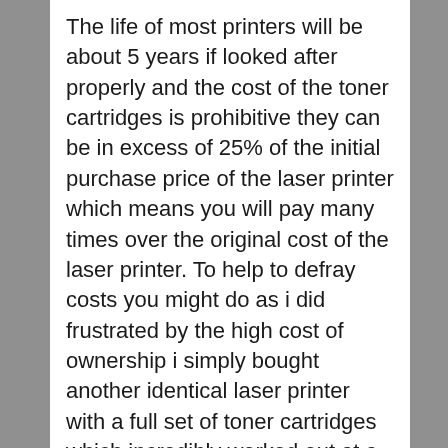The life of most printers will be about 5 years if looked after properly and the cost of the toner cartridges is prohibitive they can be in excess of 25% of the initial purchase price of the laser printer which means you will pay many times over the original cost of the laser printer. To help to defray costs you might do as i did frustrated by the high cost of ownership i simply bought another identical laser printer with a full set of toner cartridges which incredibly worked out at a price 50% cheaper than a set of toner cartridges for the laser printer.
The reason these types of printer are so popular now in the home office market is the quality speed and cost. These once very